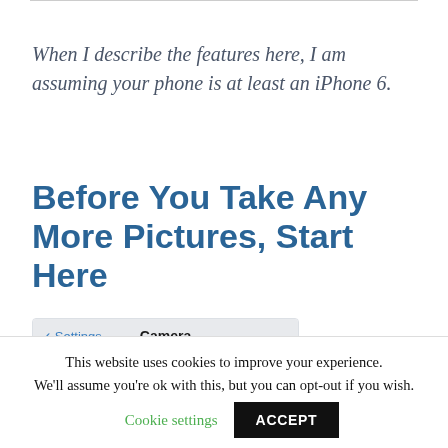When I describe the features here, I am assuming your phone is at least an iPhone 6.
Before You Take Any More Pictures, Start Here
[Figure (screenshot): iPhone Camera settings screen showing 'Settings' back button, 'Camera' title, and 'Preserve Settings' row with chevron]
The Settings
Let's start by
This website uses cookies to improve your experience. We'll assume you're ok with this, but you can opt-out if you wish.
Cookie settings
ACCEPT